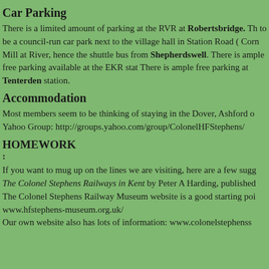Car Parking
There is a limited amount of parking at the RVR at Robertsbridge. There appears to be a council-run car park next to the village hall in Station Road (... Corn Mill at River, hence the shuttle bus from Shepherdswell. There is ample free parking available at the EKR stat... There is ample free parking at Tenterden station.
Accommodation
Most members seem to be thinking of staying in the Dover, Ashford o... Yahoo Group: http://groups.yahoo.com/group/ColonelHFStephens/
HOMEWORK
:
If you want to mug up on the lines we are visiting, here are a few sugg... The Colonel Stephens Railways in Kent by Peter A Harding, published... The Colonel Stephens Railway Museum website is a good starting poi... www.hfstephens-museum.org.uk/ Our own website also has lots of information: www.colonelstephenss...